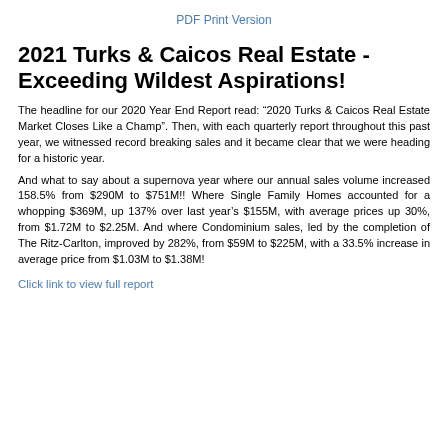PDF Print Version
2021 Turks & Caicos Real Estate - Exceeding Wildest Aspirations!
The headline for our 2020 Year End Report read: “2020 Turks & Caicos Real Estate Market Closes Like a Champ”. Then, with each quarterly report throughout this past year, we witnessed record breaking sales and it became clear that we were heading for a historic year.
And what to say about a supernova year where our annual sales volume increased 158.5% from $290M to $751M!! Where Single Family Homes accounted for a whopping $369M, up 137% over last year’s $155M, with average prices up 30%, from $1.72M to $2.25M. And where Condominium sales, led by the completion of The Ritz-Carlton, improved by 282%, from $59M to $225M, with a 33.5% increase in average price from $1.03M to $1.38M!
Click link to view full report